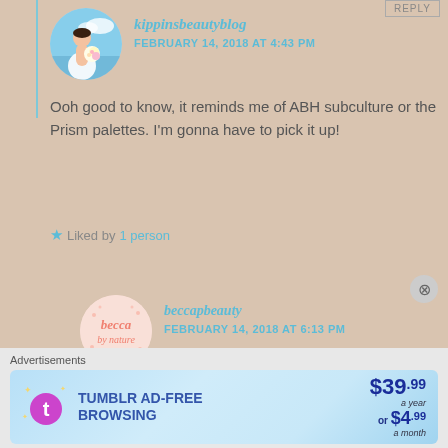REPLY
kippinsbeautyblog
FEBRUARY 14, 2018 AT 4:43 PM
Ooh good to know, it reminds me of ABH subculture or the Prism palettes. I'm gonna have to pick it up!
Liked by 1 person
beccapbeauty
FEBRUARY 14, 2018 AT 6:13 PM
Advertisements
[Figure (screenshot): Tumblr AD-FREE BROWSING banner advertisement showing $39.99 a year or $4.99 a month]